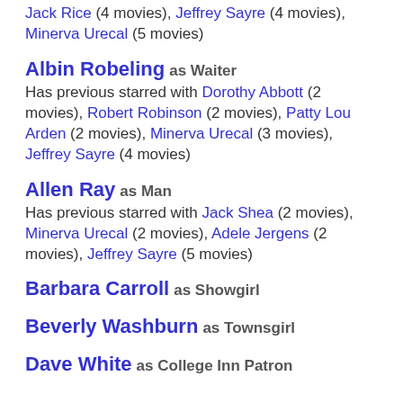Jack Rice (4 movies), Jeffrey Sayre (4 movies), Minerva Urecal (5 movies)
Albin Robeling as Waiter
Has previous starred with Dorothy Abbott (2 movies), Robert Robinson (2 movies), Patty Lou Arden (2 movies), Minerva Urecal (3 movies), Jeffrey Sayre (4 movies)
Allen Ray as Man
Has previous starred with Jack Shea (2 movies), Minerva Urecal (2 movies), Adele Jergens (2 movies), Jeffrey Sayre (5 movies)
Barbara Carroll as Showgirl
Beverly Washburn as Townsgirl
Dave White as College Inn Patron